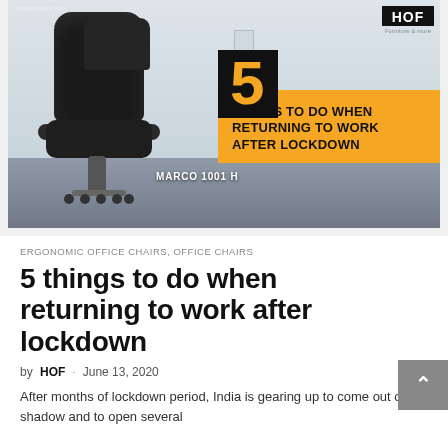[Figure (photo): Office chair (MARCO 1001 H) in an office setting with text overlay: '5 THINGS TO DO WHEN RETURNING TO WORK AFTER LOCKDOWN' and HOF logo in top-right corner.]
ERGONOMIC OFFICE CHAIRS, OFFICE CHAIRS
5 things to do when returning to work after lockdown
by HOF · June 13, 2020
After months of lockdown period, India is gearing up to come out of the shadow and to open several